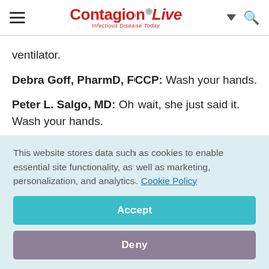ContagionLive — Infectious Disease Today
ventilator.
Debra Goff, PharmD, FCCP: Wash your hands.
Peter L. Salgo, MD: Oh wait, she just said it. Wash your hands.
Andrew Shorr, MD: If patients actually saw what
This website stores data such as cookies to enable essential site functionality, as well as marketing, personalization, and analytics. Cookie Policy
Accept
Deny